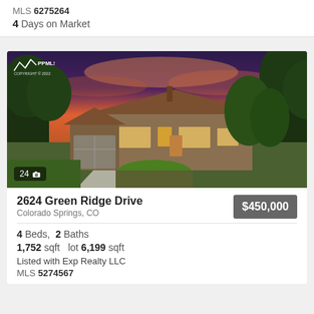MLS 6275264
4 Days on Market
[Figure (photo): Exterior photo of a single-story ranch-style home at dusk with a curved driveway, lush landscaping and dramatic sunset sky. PPMLS COPYRIGHT 2022 watermark. Photo count: 24.]
2624 Green Ridge Drive
Colorado Springs, CO
$450,000
4 Beds,  2 Baths
1,752 sqft   lot 6,199 sqft
Listed with Exp Realty LLC
MLS 5274567